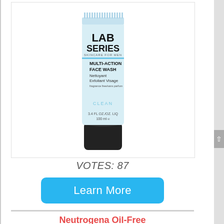[Figure (photo): Lab Series Skincare for Men Multi-Action Face Wash product tube with black cap, light blue/white tube body, 100ml]
VOTES: 87
Learn More
Neutrogena Oil-Free